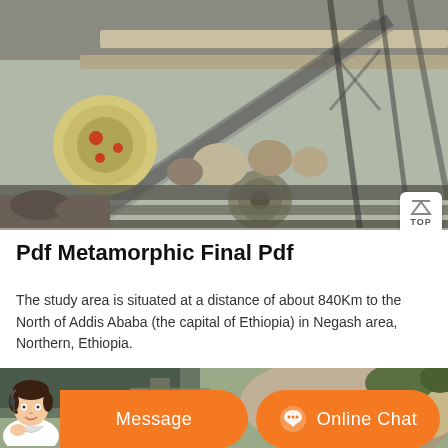[Figure (photo): Aerial view of a stone crushing plant with conveyor belts, jaw crusher machinery, and large rocks being processed on industrial equipment at a quarry site.]
Pdf Metamorphic Final Pdf
The study area is situated at a distance of about 840Km to the North of Addis Ababa (the capital of Ethiopia) in Negash area, Northern, Ethiopia.
[Figure (photo): Partial view of a quarry or mining site with rocky terrain and machinery, partially obscured by the bottom UI bar.]